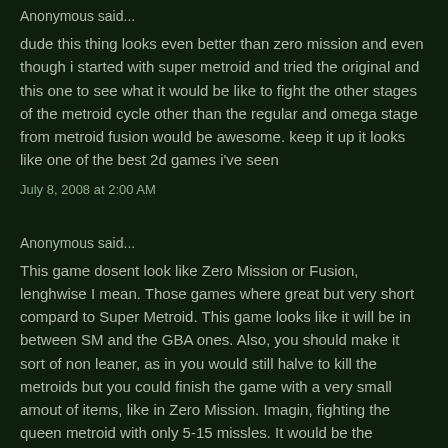Anonymous said...
dude this thing looks even better than zero mission and even though i started with super metroid and tried the original and this one to see what it would be like to fight the other stages of the metroid cycle other than the regular and omega stage from metroid fusion would be awesome. keep it up it looks like one of the best 2d games i've seen
July 8, 2008 at 2:00 AM
Anonymous said...
This game dosent look like Zero Mission or Fusion, lenghwise I mean. Those games where great but very short compard to Super Metroid. This game looks like it will be in between SM and the GBA ones. Also, you should make it sort of non leaner, as in you would still halve to kill the metroids but you could finish the game with a very small amout of items, like in Zero Mission. Imagin, fighting the queen metroid with only 5-15 missles. It would be the ultimate